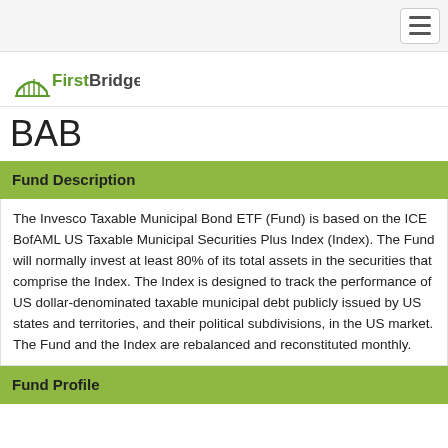FirstBridge [logo with navigation hamburger menu]
BAB
Fund Description
The Invesco Taxable Municipal Bond ETF (Fund) is based on the ICE BofAML US Taxable Municipal Securities Plus Index (Index). The Fund will normally invest at least 80% of its total assets in the securities that comprise the Index. The Index is designed to track the performance of US dollar-denominated taxable municipal debt publicly issued by US states and territories, and their political subdivisions, in the US market. The Fund and the Index are rebalanced and reconstituted monthly.
Fund Profile